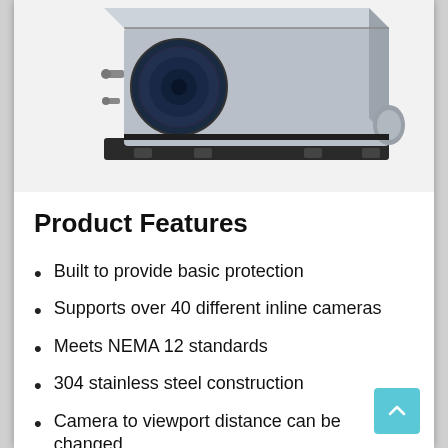[Figure (photo): Industrial stainless steel camera housing/enclosure with a lens visible on the front face, mounting brackets at the bottom, and a conduit connection on the right side. The enclosure is a rectangular box with a dark base plate.]
Product Features
Built to provide basic protection
Supports over 40 different inline cameras
Meets NEMA 12 standards
304 stainless steel construction
Camera to viewport distance can be changed